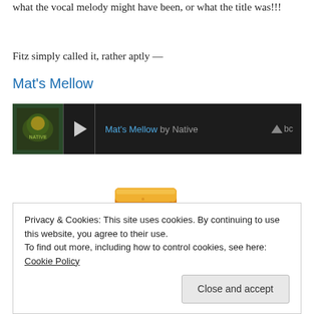what the vocal melody might have been, or what the title was!!!
Fitz simply called it, rather aptly —
Mat's Mellow
[Figure (screenshot): Bandcamp audio player bar showing 'Mat's Mellow by Native' with play button and bc logo on dark background]
[Figure (photo): Stack of golden cornbread pieces with the word 'Cornbread' in green text below]
Privacy & Cookies: This site uses cookies. By continuing to use this website, you agree to their use.
To find out more, including how to control cookies, see here: Cookie Policy
Close and accept